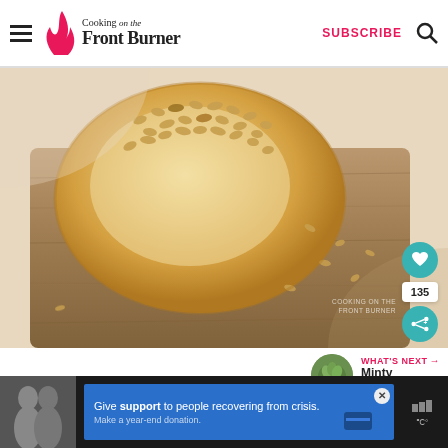Cooking on the Front Burner | SUBSCRIBE
[Figure (photo): Close-up photo of a round bread roll topped with toasted pine nuts, sitting on a wooden cutting board with scattered pine nuts around it. Watermark reads 'Cooking on the Front Burner'.]
135
WHAT'S NEXT → Minty Shamrock...
[Figure (photo): Small circular thumbnail image of a green minty shamrock dish]
Give support to people recovering from crisis. Make a year-end donation.